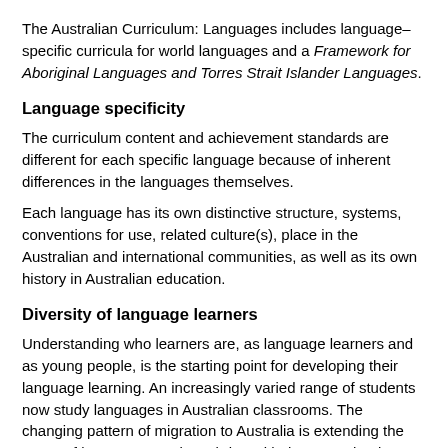The Australian Curriculum: Languages includes language–specific curricula for world languages and a Framework for Aboriginal Languages and Torres Strait Islander Languages.
Language specificity
The curriculum content and achievement standards are different for each specific language because of inherent differences in the languages themselves.
Each language has its own distinctive structure, systems, conventions for use, related culture(s), place in the Australian and international communities, as well as its own history in Australian education.
Diversity of language learners
Understanding who learners are, as language learners and as young people, is the starting point for developing their language learning. An increasingly varied range of students now study languages in Australian classrooms. The changing pattern of migration to Australia is extending the range of languages students bring with them to school. Education systems seek to provide for this diversity of language background and for the fact that languages classrooms include students with varying degrees of experience of and proficiency in the language being learnt, as well as their particular affiliations with